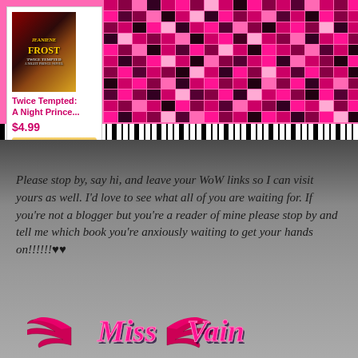[Figure (screenshot): Amazon product listing card for 'Twice Tempted: A Night Prince...' priced at $4.99 with a Shop now button, overlaid on a pink mosaic and zebra-stripe patterned background]
Please stop by, say hi, and leave your WoW links so I can visit yours as well. I’d love to see what all of you are waiting for. If you’re not a blogger but you’re a reader of mine please stop by and tell me which book you’re anxiously waiting to get your hands on!!!!!!♥♥
[Figure (logo): Miss Vain logo with pink winged script lettering and decorative wings]